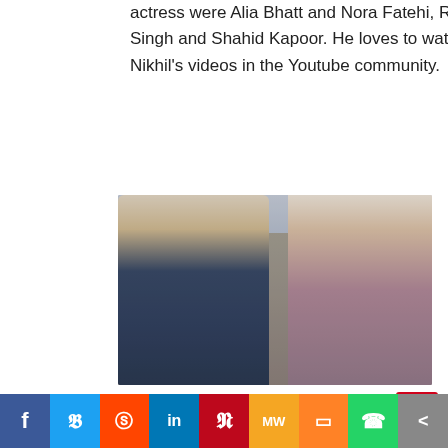actress were Alia Bhatt and Nora Fatehi, Ranveer Singh and Shahid Kapoor. He loves to watch Mumbiker Nikhil's videos in the Youtube community.
[Figure (photo): A selfie photo of a young man in a blue and white plaid shirt smiling, and a young woman with glasses smiling, taken outdoors on a cobblestone area with people in the background.]
Yatri Doctor Social Media